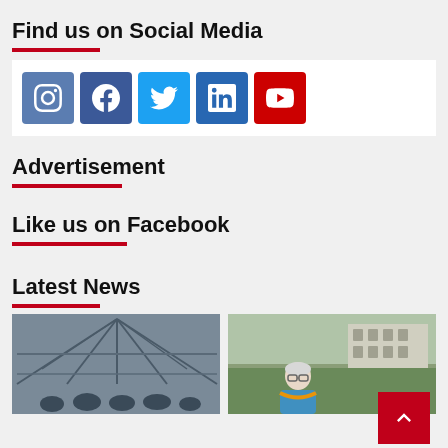Find us on Social Media
[Figure (infographic): Row of 5 social media icon buttons: Instagram (blue-grey), Facebook (dark blue), Twitter (light blue), LinkedIn (blue), YouTube (red)]
Advertisement
Like us on Facebook
Latest News
[Figure (photo): Indoor scene under a roof structure with people gathered below]
[Figure (photo): Outdoor scene with an elderly man in blue wearing a garland, with a building in the background]